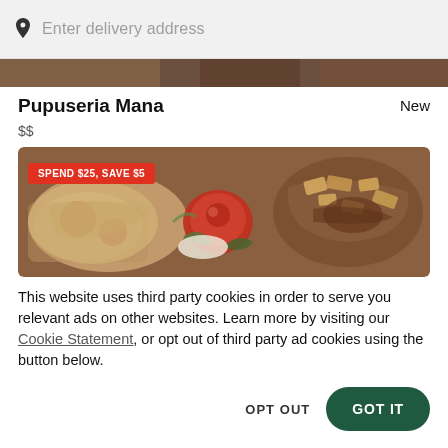Enter delivery address
[Figure (photo): Dark food hero strip at top of restaurant listing]
Pupuseria Mana
New
$$
[Figure (photo): Food image banner showing pupusas, roasted tomatoes, and mixed dishes with a red promotional badge reading SPEND $25, SAVE $5]
This website uses third party cookies in order to serve you relevant ads on other websites. Learn more by visiting our Cookie Statement, or opt out of third party ad cookies using the button below.
OPT OUT
GOT IT